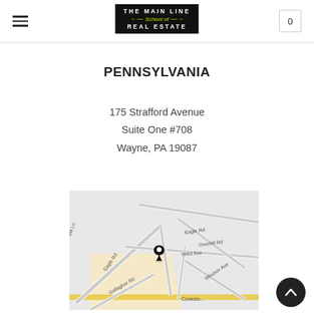The Main Line School of Real Estate — navigation header with logo and cart showing 0
PENNSYLVANIA
175 Strafford Avenue
Suite One #708
Wayne, PA 19087
[Figure (map): Street map centered on 175 Strafford Avenue, Wayne PA 19087, showing Eagle Rd, West Ave, Overhill Rd, Windsor Ave, Gallagher Rd, Conestoga Rd, with a black location pin marker at the address.]